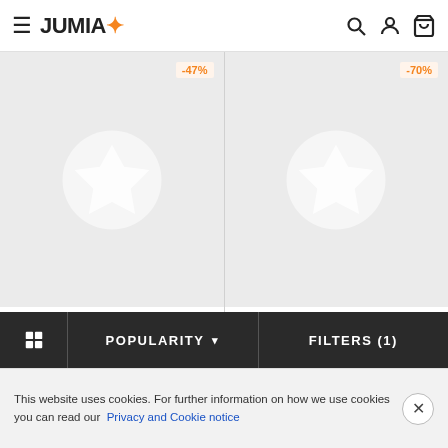JUMIA
[Figure (screenshot): Product card 1: Fashion FC Lace Love Bag with -47% discount badge and Jumia Fashion placeholder image]
[Figure (screenshot): Product card 2: Fashion New Digital Printing Gauze Stitching Plus Size Women's Dress with -70% discount badge and Jumia Fashion placeholder image]
JUMIA FASHION
Fashion FC Lace Love Bag Fashion Versatile Small Bag Cross-body...
JUMIA FASHION
Fashion New Digital Printing Gauze Stitching Plus Size Women's Dres...
POPULARITY
FILTERS (1)
This website uses cookies. For further information on how we use cookies you can read our Privacy and Cookie notice